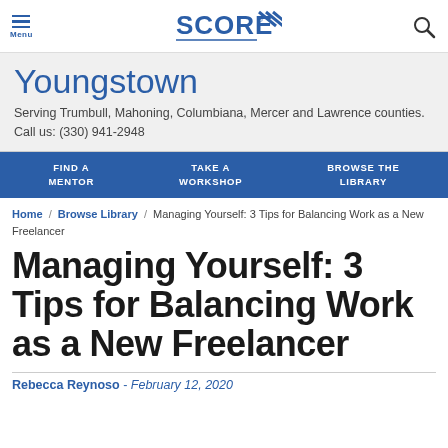Menu | SCORE | Search
Youngstown
Serving Trumbull, Mahoning, Columbiana, Mercer and Lawrence counties. Call us: (330) 941-2948
FIND A MENTOR | TAKE A WORKSHOP | BROWSE THE LIBRARY
Home / Browse Library / Managing Yourself: 3 Tips for Balancing Work as a New Freelancer
Managing Yourself: 3 Tips for Balancing Work as a New Freelancer
Rebecca Reynoso - February 12, 2020